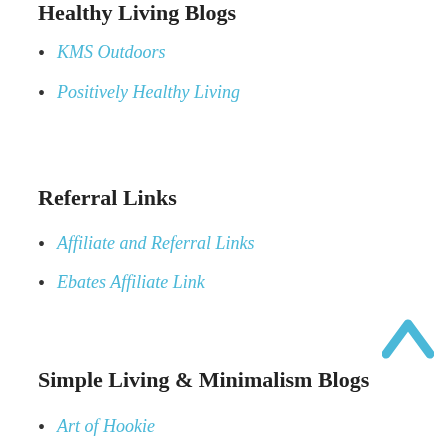Healthy Living Blogs
KMS Outdoors
Positively Healthy Living
Referral Links
Affiliate and Referral Links
Ebates Affiliate Link
Simple Living & Minimalism Blogs
Art of Hookie